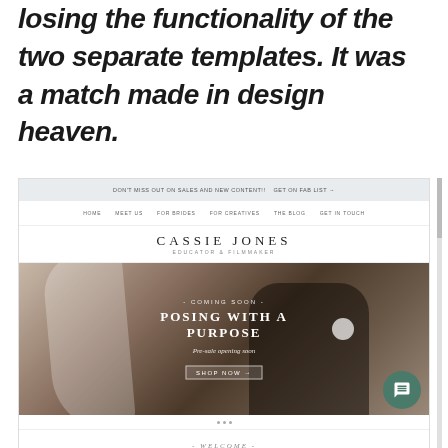losing the functionality of the two separate templates. It was a match made in design heaven.
[Figure (screenshot): Screenshot of a photography website 'Cassie Jones' with navigation bar, hero image of a bride and groom about to kiss, overlaid text 'COMING SOON - POSING WITH A PURPOSE', pre-enrollment text, shop now button, chat bubble icon, dots navigation, and 'WELCOME - WE'RE GLAD YOU'RE HERE' footer section.]